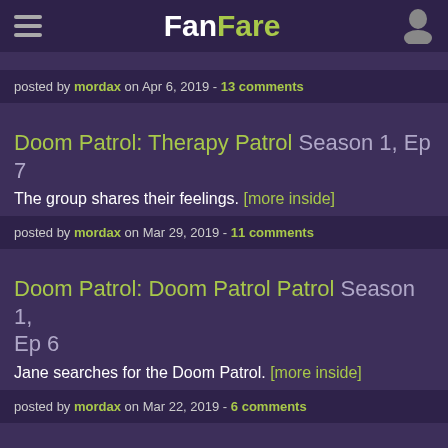FanFare
posted by mordax on Apr 6, 2019 - 13 comments
Doom Patrol: Therapy Patrol Season 1, Ep 7
The group shares their feelings. [more inside]
posted by mordax on Mar 29, 2019 - 11 comments
Doom Patrol: Doom Patrol Patrol Season 1, Ep 6
Jane searches for the Doom Patrol. [more inside]
posted by mordax on Mar 22, 2019 - 6 comments
Doom Patrol: Cult Patrol Season 1, Ep 6